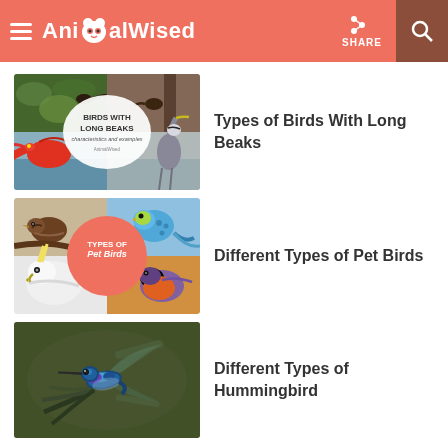AnimalWised — SHARE
Types of Birds With Long Beaks
[Figure (photo): Collage of birds with long beaks with circular label 'BIRDS WITH LONG BEAKS']
Different Types of Pet Birds
[Figure (photo): Collage of pet birds (budgie, parrot, robin) with circular orange label 'TYPES OF Pet Birds']
Different Types of Hummingbird
[Figure (photo): Dark background photo of a hummingbird in flight with iridescent blue-green plumage]